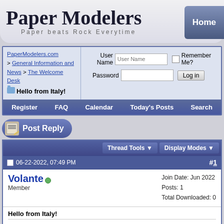Paper Modelers — Paper beats Rock Everytime
PaperModelers.com > General Information and News > The Welcome Desk  Hello from Italy!
User Name | Password | Remember Me? | Log in
Register  FAQ  Calendar  Today's Posts  Search
Post Reply
Thread Tools   Display Modes
06-22-2022, 07:49 PM  #1
Volante — Member — Join Date: Jun 2022 — Posts: 1 — Total Downloaded: 0
Hello from Italy!
Hello everyone,
It's a pleasure to be part of this forum, i'm an italian modeler that it's approaching the world of paper modeling. Looking